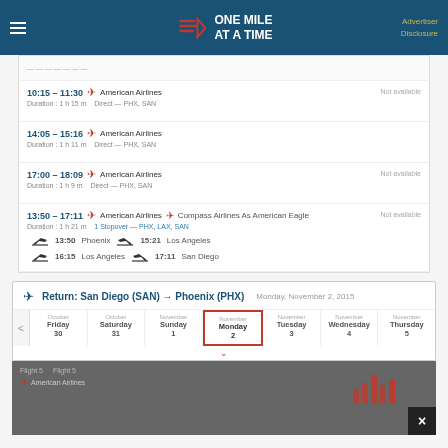ONE MILE AT A TIME — Advertiser Disclosure
| Time | Airline | Route | Price |
| --- | --- | --- | --- |
| 10:15 – 11:30 | American Airlines | Direct — PHX, SAN | Not available |
| 14:05 – 15:16 | American Airlines | Direct — PHX, SAN |  |
| 17:00 – 18:09 | American Airlines | Direct — PHX, SAN | Not available |
| 13:50 – 17:11 | American Airlines + Compass Airlines As American Eagle | 1 Stopover — PHX, LAX, SAN | Not available |
Return: San Diego (SAN) → Phoenix (PHX)   Monday, November 2, 2015
| October Friday 30 | October Saturday 31 | November Sunday 1 | November Monday 2 | November Tuesday 3 | November Wednesday 4 | November Thursday 5 |
| --- | --- | --- | --- | --- | --- | --- |